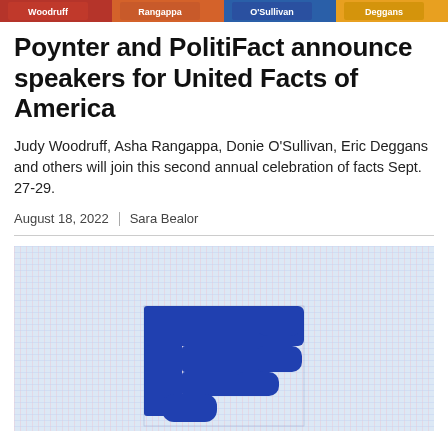Woodruff | Rangappa | O'Sullivan | Deggans
Poynter and PolitiFact announce speakers for United Facts of America
Judy Woodruff, Asha Rangappa, Donie O'Sullivan, Eric Deggans and others will join this second annual celebration of facts Sept. 27-29.
August 18, 2022 | Sara Bealor
[Figure (photo): Close-up photograph of a blue Facebook thumbs-down (dislike) icon on a pixelated screen background with a grid-like pattern in light blue and pink tones]